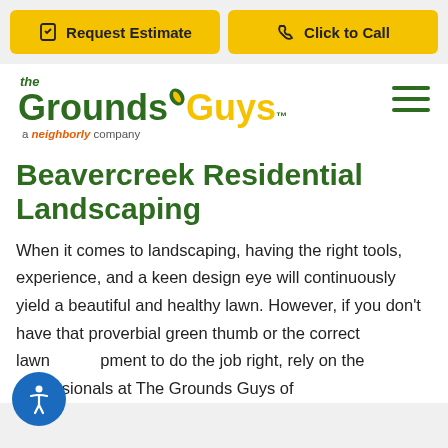Request Estimate | Click to Call
[Figure (logo): The Grounds Guys logo - a Neighborly company]
Beavercreek Residential Landscaping
When it comes to landscaping, having the right tools, experience, and a keen design eye will continuously yield a beautiful and healthy lawn. However, if you don't have that proverbial green thumb or the correct lawn equipment to do the job right, rely on the professionals at The Grounds Guys of